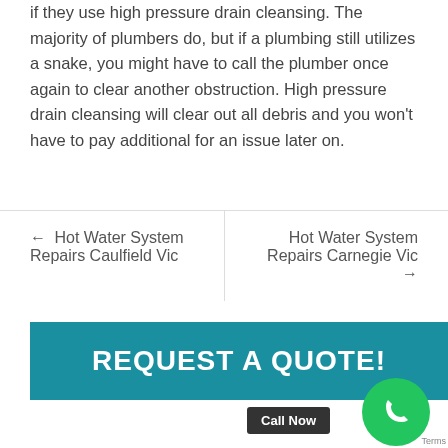if they use high pressure drain cleansing. The majority of plumbers do, but if a plumbing still utilizes a snake, you might have to call the plumber once again to clear another obstruction. High pressure drain cleansing will clear out all debris and you won't have to pay additional for an issue later on.
← Hot Water System Repairs Caulfield Vic
Hot Water System Repairs Carnegie Vic →
REQUEST A QUOTE!
Call Now